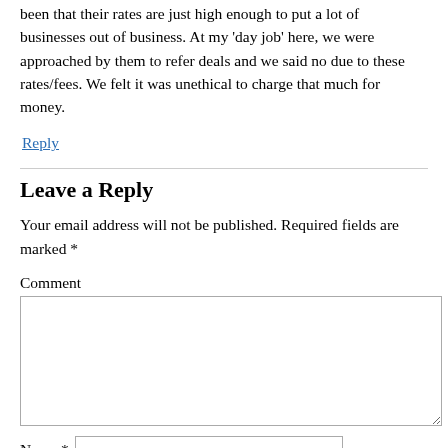been that their rates are just high enough to put a lot of businesses out of business. At my 'day job' here, we were approached by them to refer deals and we said no due to these rates/fees. We felt it was unethical to charge that much for money.
Reply
Leave a Reply
Your email address will not be published. Required fields are marked *
Comment
Name *
Email *